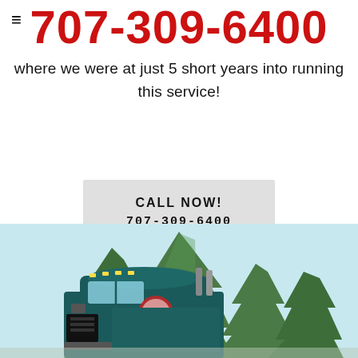≡
707-309-6400
where we were at just 5 short years into running this service!
CALL NOW!
707-309-6400
[Figure (photo): Photograph of a semi-truck (dark blue/teal cab) parked near tall green pine trees under a light blue sky.]